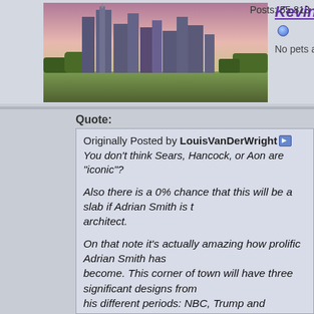[Figure (photo): City skyline with tall buildings at dusk/dawn, green park in foreground]
KevinFromTexas [online indicator]
No pets allowed
Posts: 55,813
Quote:
Originally Posted by LouisVanDerWright
You don't think Sears, Hancock, or Aon are "iconic"?

Also there is a 0% chance that this will be a slab if Adrian Smith is the architect.

On that note it's actually amazing how prolific Adrian Smith has become. This corner of town will have three significant designs from his different periods: NBC, Trump and Tribune. How many architects in Chicago have gotten such center stage? How many of them have designed the tallest buildings on Earth in serial for decades? Despite that fact, Smith is almost unknown publicly, he doesn't get the starchitect press, he seems very humble and happy to just keep living the dream cranking out the most impressive structures in human history. We are truly in a golden age for tall buildings and Chicago architects are still on top, literally.

Hopefully Smith brings home everything he has learned designing the biggest supertalls and drops a masterpiece on us.

For example, every time I look at their website there is something like this: